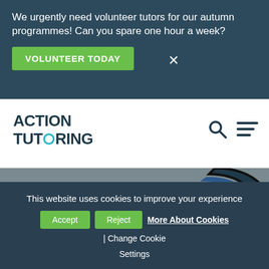We urgently need volunteer tutors for our autumn programmes! Can you spare one hour a week?
VOLUNTEER TODAY
[Figure (logo): Action Tutoring logo with teal circle in word TUTORING]
[Figure (illustration): Abstract curved shape in dark blue on grey background]
NEWS & INSIGHTS  |  7 May 2020
Lessons in Lockdown
This website uses cookies to improve your experience
Accept   Reject   More About Cookies | Change Cookie Settings